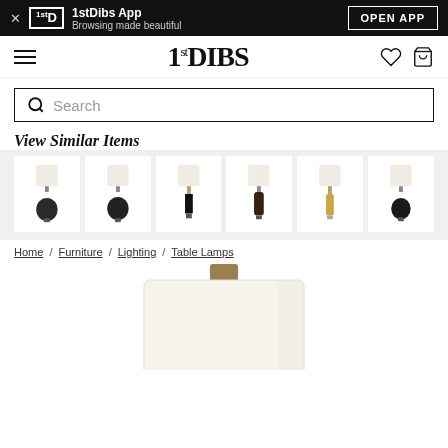1stDibs App — Browsing made beautiful — OPEN APP
[Figure (logo): 1stDibs navigation bar with hamburger menu, 1stDIBS logo, heart and cart icons]
[Figure (screenshot): Search bar with magnifying glass icon and placeholder text 'Search']
View Similar Items
[Figure (photo): Grid of 6 similar table lamp product thumbnails showing various lamps with white shades on dark and gold bases]
Home / Furniture / Lighting / Table Lamps
[Figure (photo): Product image of a table lamp with large white cylindrical drum shade and brass/gold base, partially cropped at bottom]